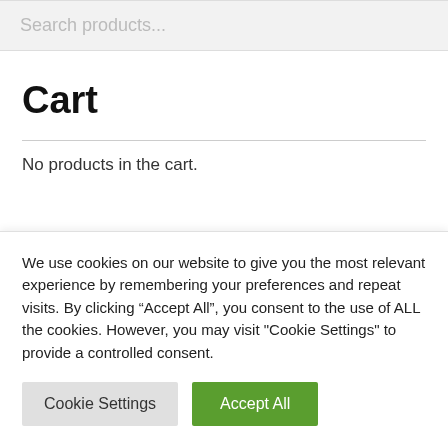Search products...
Cart
No products in the cart.
We use cookies on our website to give you the most relevant experience by remembering your preferences and repeat visits. By clicking “Accept All”, you consent to the use of ALL the cookies. However, you may visit "Cookie Settings" to provide a controlled consent.
Cookie Settings
Accept All